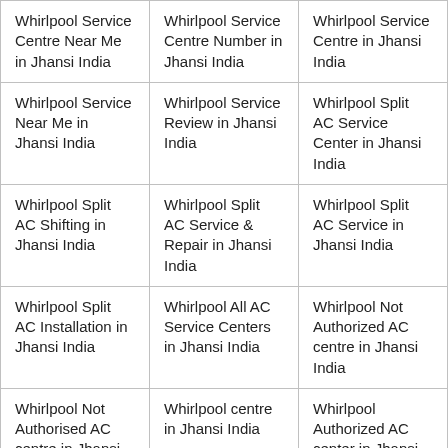| Whirlpool Service Centre Near Me in Jhansi India | Whirlpool Service Centre Number in Jhansi India | Whirlpool Service Centre in Jhansi India |
| Whirlpool Service Near Me in Jhansi India | Whirlpool Service Review in Jhansi India | Whirlpool Split AC Service Center in Jhansi India |
| Whirlpool Split AC Shifting in Jhansi India | Whirlpool Split AC Service & Repair in Jhansi India | Whirlpool Split AC Service in Jhansi India |
| Whirlpool Split AC Installation in Jhansi India | Whirlpool All AC Service Centers in Jhansi India | Whirlpool Not Authorized AC centre in Jhansi India |
| Whirlpool Not Authorised AC centre in Jhansi India | Whirlpool centre in Jhansi India | Whirlpool Authorized AC center in Jhansi India |